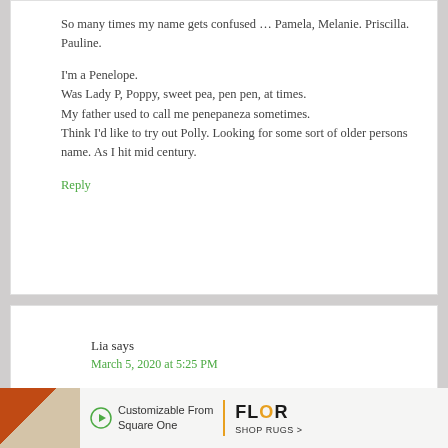So many times my name gets confused … Pamela, Melanie. Priscilla. Pauline.

I'm a Penelope.
Was Lady P, Poppy, sweet pea, pen pen, at times.
My father used to call me penepaneza sometimes.
Think I'd like to try out Polly. Looking for some sort of older persons name. As I hit mid century.
Reply
Lia says
March 5, 2020 at 5:25 PM
[Figure (other): Advertisement banner for FLOR rugs: orange rug image on left, text 'Customizable From Square One' with play icon, vertical yellow divider, FLOR SHOP RUGS brand logo on right]